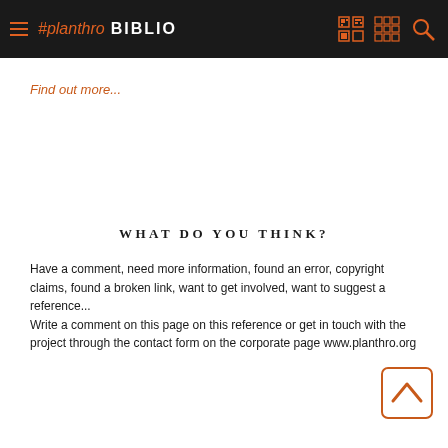#planthro BIBLIO
Find out more...
WHAT DO YOU THINK?
Have a comment, need more information, found an error, copyright claims, found a broken link, want to get involved, want to suggest a reference...
Write a comment on this page on this reference or get in touch with the project through the contact form on the corporate page www.planthro.org